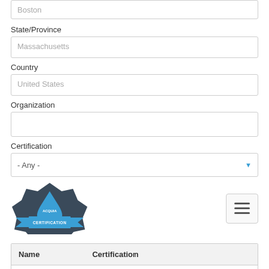Boston
State/Province
Massachusetts
Country
United States
Organization
Certification
- Any -
[Figure (logo): Acquia Certification badge logo - blue droplet shape with dark star/shield background and 'ACQUIA CERTIFICATION' text on blue ribbon]
| Name | Certification |
| --- | --- |
| Alozie Nwosu | Acquia Certified Developer - Drupal 8 |